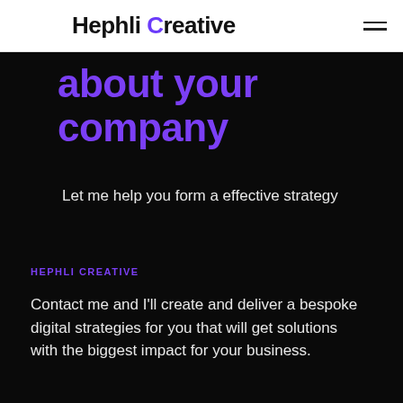Hephli Creative
about your company
Let me help you form a effective strategy
HEPHLI CREATIVE
Contact me and I'll create and deliver a bespoke digital strategies for you that will get solutions with the biggest impact for your business.